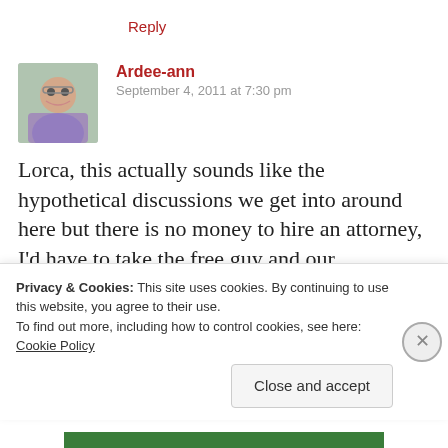Reply
Ardee-ann
September 4, 2011 at 7:30 pm
Lorca, this actually sounds like the hypothetical discussions we get into around here but there is no money to hire an attorney, I'd have to take the free guy and our conversation revolves around my roomie who I wouldn't kill visiting me in "the joint" for killing
Privacy & Cookies: This site uses cookies. By continuing to use this website, you agree to their use.
To find out more, including how to control cookies, see here: Cookie Policy
Close and accept